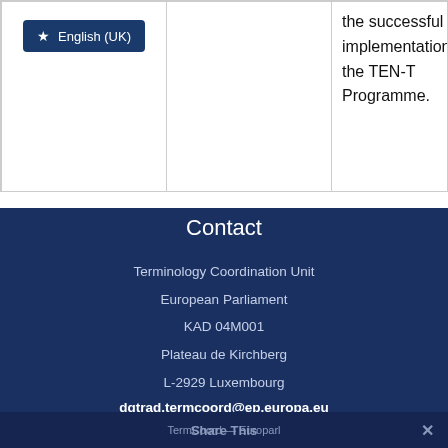|  |  |  |
| --- | --- | --- |
| English (UK) |  | the successful implementation of the TEN-T Programme. |
Contact
Terminology Coordination Unit
European Parliament
KAD 04M001
Plateau de Kirchberg
L-2929 Luxembourg
dgtrad.termcoord@ep.europa.eu
TermShare This Europarl ✕